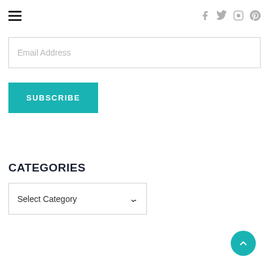Navigation menu and social icons (Facebook, Twitter, Instagram, Pinterest)
Email Address
SUBSCRIBE
CATEGORIES
Select Category